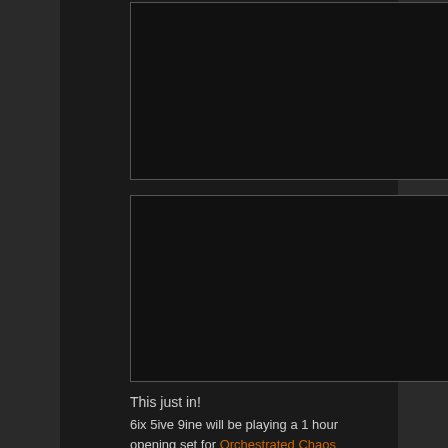[Figure (photo): Dark rectangular image placeholder, top position]
[Figure (photo): Dark rectangular image placeholder, bottom position]
This just in!
6ix 5ive 9ine will be playing a 1 hour opening set for Orchestrated Chaos at Sportsman's in South Haven on Saturday, October 4th. Show starts at 10pm. Come join us